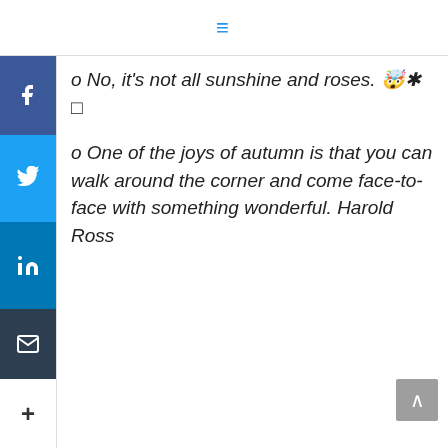≡
o No, it's not all sunshine and roses. 🤗✳️ □
o One of the joys of autumn is that you can walk around the corner and come face-to-face with something wonderful. Harold Ross